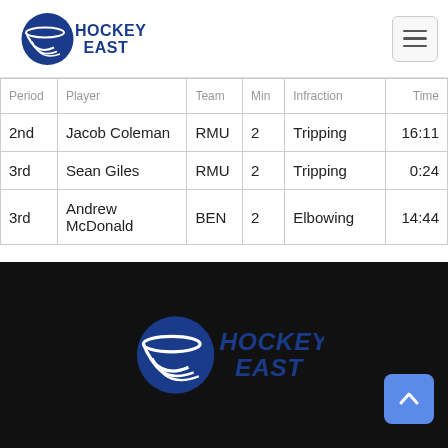Hockey East logo and navigation
| Period | Player | Team | Min | Infraction | Time |
| --- | --- | --- | --- | --- | --- |
| 2nd | Jacob Coleman | RMU | 2 | Tripping | 16:11 |
| 3rd | Sean Giles | RMU | 2 | Tripping | 0:24 |
| 3rd | Andrew McDonald | BEN | 2 | Elbowing | 14:44 |
Hockey East footer logo